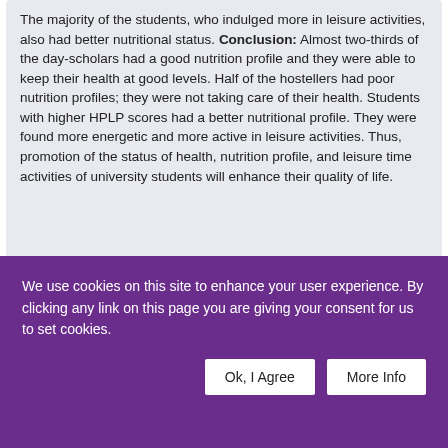The majority of the students, who indulged more in leisure activities, also had better nutritional status. Conclusion: Almost two-thirds of the day-scholars had a good nutrition profile and they were able to keep their health at good levels. Half of the hostellers had poor nutrition profiles; they were not taking care of their health. Students with higher HPLP scores had a better nutritional profile. They were found more energetic and more active in leisure activities. Thus, promotion of the status of health, nutrition profile, and leisure time activities of university students will enhance their quality of life.
[Figure (other): Small thumbnail image of a document/article header with blue and gray text lines]
We use cookies on this site to enhance your user experience. By clicking any link on this page you are giving your consent for us to set cookies.